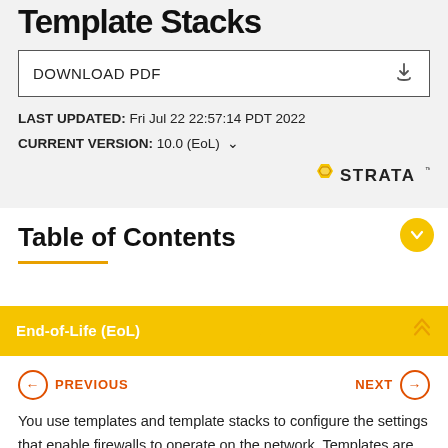Template Stacks
DOWNLOAD PDF
LAST UPDATED: Fri Jul 22 22:57:14 PDT 2022
CURRENT VERSION: 10.0 (EoL)
[Figure (logo): Strata logo with hexagon icon]
Table of Contents
End-of-Life (EoL)
PREVIOUS
NEXT
You use templates and template stacks to configure the settings that enable firewalls to operate on the network. Templates are the basic building blocks you use to configure